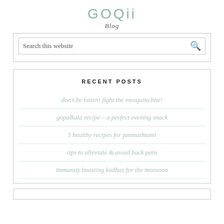GOQii Blog
Search this website
RECENT POSTS
don't be bitten! fight the mosquito bite!
gopalkala recipe – a perfect evening snack
5 healthy recipes for janmashtami
tips to alleviate & avoid back pain
immunity boosting kadhas for the monsoon